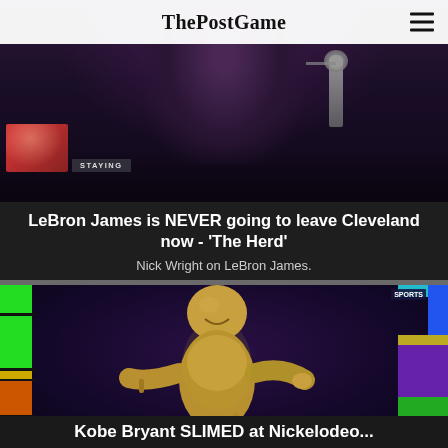ThePostGame
[Figure (screenshot): Video thumbnail showing a man in a suit near a microphone, with LeBron James in a small inset, and a 'STAYING' graphic overlay]
LeBron James is NEVER going to leave Cleveland now - 'The Herd'
Nick Wright on LeBron James.
[Figure (screenshot): Person covered in gold/yellow slime with arms outstretched at what appears to be a Nickelodeon Kids' Choice Sports awards show, with colorful blocks on left and right sides and a sports network logo visible]
Kobe Bryant SLIMED at Nickelodeon...